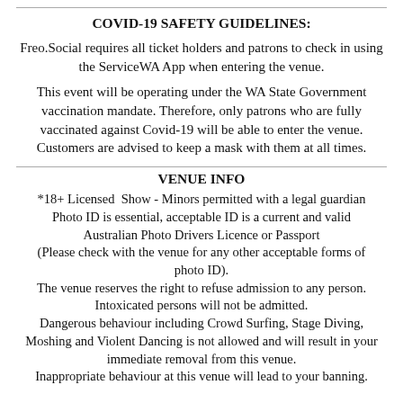COVID-19 SAFETY GUIDELINES:
Freo.Social requires all ticket holders and patrons to check in using the ServiceWA App when entering the venue.
This event will be operating under the WA State Government vaccination mandate. Therefore, only patrons who are fully vaccinated against Covid-19 will be able to enter the venue. Customers are advised to keep a mask with them at all times.
VENUE INFO
*18+ Licensed  Show - Minors permitted with a legal guardian
Photo ID is essential, acceptable ID is a current and valid Australian Photo Drivers Licence or Passport
(Please check with the venue for any other acceptable forms of photo ID).
The venue reserves the right to refuse admission to any person.
Intoxicated persons will not be admitted.
Dangerous behaviour including Crowd Surfing, Stage Diving, Moshing and Violent Dancing is not allowed and will result in your immediate removal from this venue.
Inappropriate behaviour at this venue will lead to your banning.